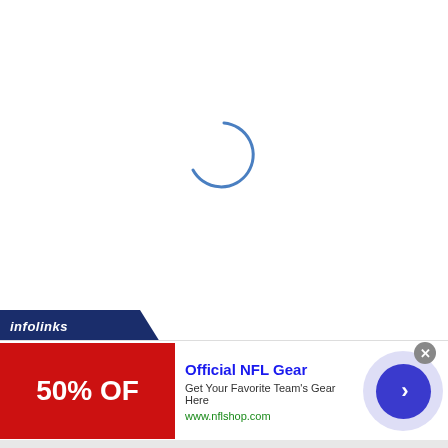[Figure (other): Loading spinner — a partial blue arc (approximately 3/4 circle) centered in the upper white area of the page, indicating content is loading.]
[Figure (logo): Infolinks logo bar — dark navy diagonal banner with italic white 'infolinks' text, positioned at the top of the ad section.]
[Figure (other): Advertisement banner: red image on left showing '50% OF' text in white, center text column with 'Official NFL Gear' headline, subtitle 'Get Your Favorite Team's Gear Here', URL 'www.nflshop.com', and a close (X) button. Right side shows a large blue circle with a right-pointing chevron arrow inside, surrounded by a semi-transparent lavender outer ring.]
Official NFL Gear
Get Your Favorite Team's Gear Here
www.nflshop.com